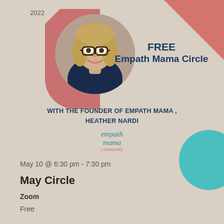2022
[Figure (photo): Circular portrait photo of a woman with blonde hair and glasses, smiling, wearing a dark top. Behind her is a pink decorative shape. A teal semicircle decoration appears at the right.]
FREE
Empath Mama Circle
WITH THE FOUNDER OF EMPATH MAMA ,
HEATHER NARDI
[Figure (logo): Empath Mama Community logo in teal and pink script text]
May 10 @ 6:30 pm - 7:30 pm
May Circle
Zoom
Free